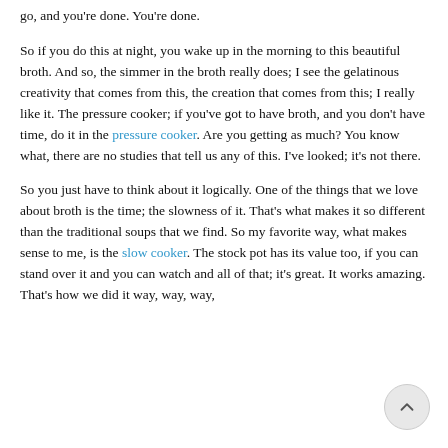go, and you're done. You're done.
So if you do this at night, you wake up in the morning to this beautiful broth. And so, the simmer in the broth really does; I see the gelatinous creativity that comes from this, the creation that comes from this; I really like it. The pressure cooker; if you've got to have broth, and you don't have time, do it in the pressure cooker. Are you getting as much? You know what, there are no studies that tell us any of this. I've looked; it's not there.
So you just have to think about it logically. One of the things that we love about broth is the time; the slowness of it. That's what makes it so different than the traditional soups that we find. So my favorite way, what makes sense to me, is the slow cooker. The stock pot has its value too, if you can stand over it and you can watch and all of that; it's great. It works amazing. That's how we did it way, way, way,